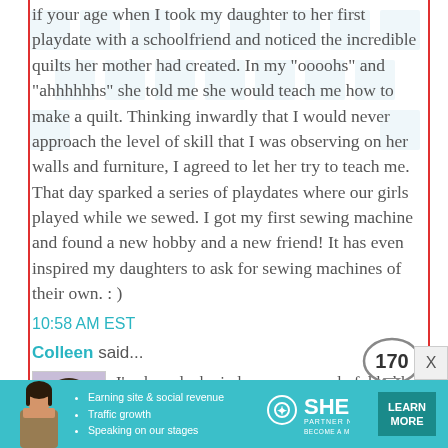if your age when I took my daughter to her first playdate with a schoolfriend and noticed the incredible quilts her mother had created. In my "oooohs" and "ahhhhhhs" she told me she would teach me how to make a quilt. Thinking inwardly that I would never approach the level of skill that I was observing on her walls and furniture, I agreed to let her try to teach me. That day sparked a series of playdates where our girls played while we sewed. I got my first sewing machine and found a new hobby and a new friend! It has even inspired my daughters to ask for sewing machines of their own. : )
10:58 AM EST
Colleen said...
[Figure (photo): Small avatar photo of a woman with short dark hair wearing a purple top]
I've been lucky in love - my wonderful hubby and I have been married for almost 27 year, and I'd marry him again in a heartbeat.
Happy Birthday Bonnie!
[Figure (infographic): SHE Partner Network advertisement banner with woman photo, bullet points about Earning site & social revenue, Traffic growth, Speaking on our stages, SHE logo, and LEARN MORE button]